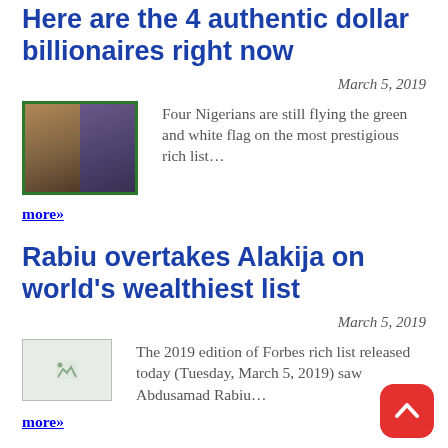Here are the 4 authentic dollar billionaires right now
March 5, 2019
[Figure (photo): Two-person composite photo with green border showing two Nigerian men]
Four Nigerians are still flying the green and white flag on the most prestigious rich list… more»
Rabiu overtakes Alakija on world's wealthiest list
March 5, 2019
[Figure (photo): Small broken image thumbnail]
The 2019 edition of Forbes rich list released today (Tuesday, March 5, 2019) saw Abdusamad Rabiu… more»